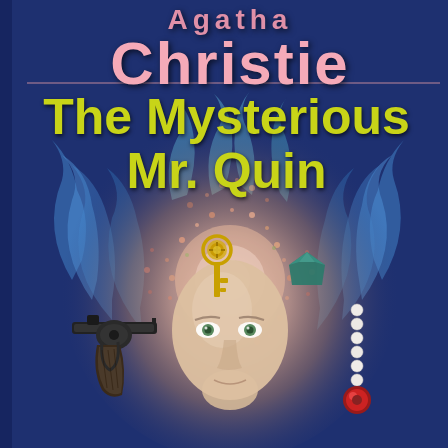[Figure (illustration): Book cover of 'The Mysterious Mr. Quin' by Agatha Christie. Dark navy blue background with a surreal illustration: a glowing human face emerging from an explosion of pink/orange sparkles and blue flame-like wisps. Surrounding the face are mystery symbols: a golden ornate key, a dark revolver/pistol on the left, a pearl necklace with a red jewel on the right, and a dark gemstone. The face has green eyes and looks upward with an eerie calm expression.]
Christie
The Mysterious Mr. Quin